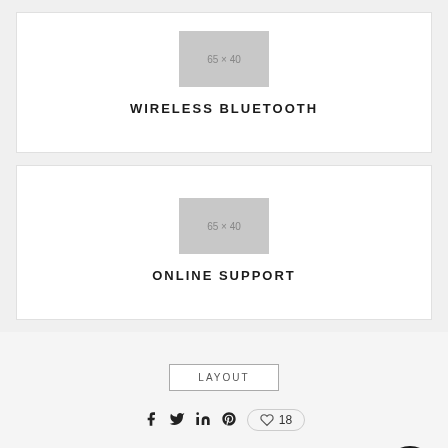[Figure (illustration): Placeholder image 65x40 inside a white card]
WIRELESS BLUETOOTH
[Figure (illustration): Placeholder image 65x40 inside a white card]
ONLINE SUPPORT
LAYOUT
18